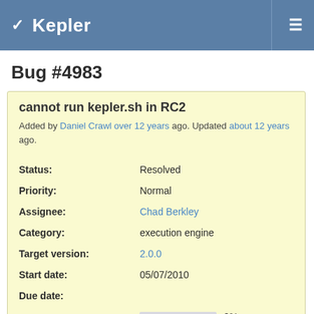Kepler
Bug #4983
cannot run kepler.sh in RC2
Added by Daniel Crawl over 12 years ago. Updated about 12 years ago.
| Field | Value |
| --- | --- |
| Status: | Resolved |
| Priority: | Normal |
| Assignee: | Chad Berkley |
| Category: | execution engine |
| Target version: | 2.0.0 |
| Start date: | 05/07/2010 |
| Due date: |  |
| % Done: | 0% |
| Estimated time: |  |
| Bugzilla-Id: | 4983 |